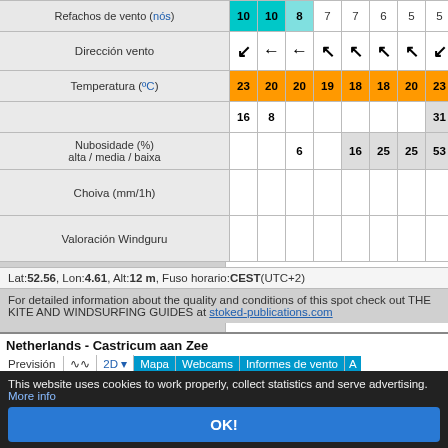| Row | Col1 | Col2 | Col3 | Col4 | Col5 | Col6 | Col7 | Col8 |
| --- | --- | --- | --- | --- | --- | --- | --- | --- |
| Refachos de vento (nós) | 10 | 10 | 8 | 7 | 7 | 6 | 5 | 5 |
| Dirección vento | ↙ | ← | ← | ↖ | ↖ | ↖ | ↖ | ↙ |
| Temperatura (°C) | 23 | 20 | 20 | 19 | 18 | 18 | 20 | 23 |
| Nubosidade (%) alta / media / baixa | 16 | 8 |  |  |  |  |  | 31 |
|  |  |  | 6 |  | 16 | 25 | 25 | 53 |
| Choiva (mm/1h) |  |  |  |  |  |  |  |  |
| Valoración Windguru |  |  |  |  |  |  |  |  |
Lat: 52.56, Lon: 4.61, Alt: 12 m, Fuso horario: CEST (UTC+2)
For detailed information about the quality and conditions of this spot check out THE KITE AND WINDSURFING GUIDES at stoked-publications.com
Netherlands - Castricum aan Zee
| Previsión | 2D | Mapa | Webcams | Informes de vento | A... |
| --- | --- | --- | --- | --- | --- |
| Zephr-HD 3 km 23.08.2022 06 UTC | Ma 23. 08h | Ma 23. 09h | Ma 23. 10h | Ma 23. 11h | Ma 23. 12h | Ma 23. 13h | Ma 23. 14h | Ma 23. 15h |
| --- | --- | --- | --- | --- | --- | --- | --- | --- |
| Velocidade vento (nós) | 6 | 8 | 7 | 3 | 5 | 6 | 6 | 6 |
| Refachos de vento (nós) | 8 | 12 | 10 | 6 | 8 | 7 | 6 | 8 |
| Dirección vento | ↗ | ↗ | ↗ | ↑ | ↗ | ↗ | → | — |
This website uses cookies to work properly, collect statistics and serve advertising. More info
OK!